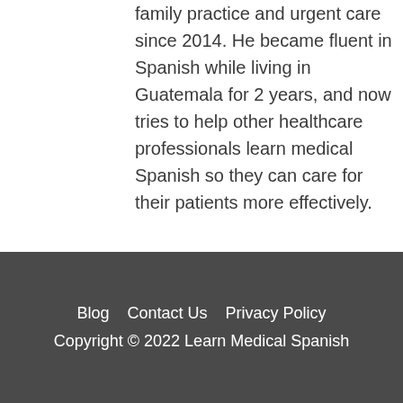family practice and urgent care since 2014. He became fluent in Spanish while living in Guatemala for 2 years, and now tries to help other healthcare professionals learn medical Spanish so they can care for their patients more effectively.
Blog   Contact Us   Privacy Policy
Copyright © 2022 Learn Medical Spanish